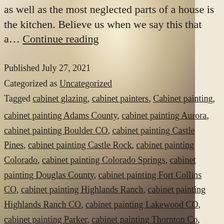[Figure (photo): Kitchen interior with cream/white cabinets and dark wood floors, partially visible behind text overlay]
as well as the most neglected parts of a house is the kitchen. Believe us when we say this that a… Continue reading
Published July 27, 2021
Categorized as Uncategorized
Tagged cabinet glazing, cabinet painters, Cabinet painting, cabinet painting Adams County, cabinet painting Aurora, cabinet painting Boulder CO, cabinet painting Castle Pines, cabinet painting Castle Rock, cabinet painting Colorado, cabinet painting Colorado Springs, cabinet painting Douglas County, cabinet painting Fort Collins CO, cabinet painting Highlands Ranch, cabinet painting Highlands Ranch CO, cabinet painting Lakewood CO, cabinet painting Parker, cabinet painting Thornton Co,